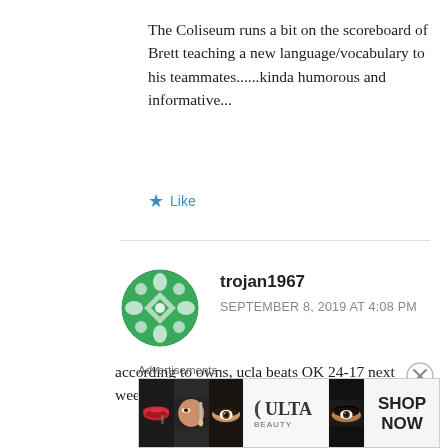The Coliseum runs a bit on the scoreboard of Brett teaching a new language/vocabulary to his teammates......kinda humorous and informative...
★ Like
[Figure (illustration): Green circular avatar with decorative geometric quilt-like pattern for user trojan1967]
trojan1967
SEPTEMBER 8, 2019 AT 4:08 PM
according to owns, ucla beats OK 24-17 next week.
[Figure (photo): Ulta Beauty advertisement banner showing close-up beauty/makeup images and SHOP NOW call to action]
Advertisements